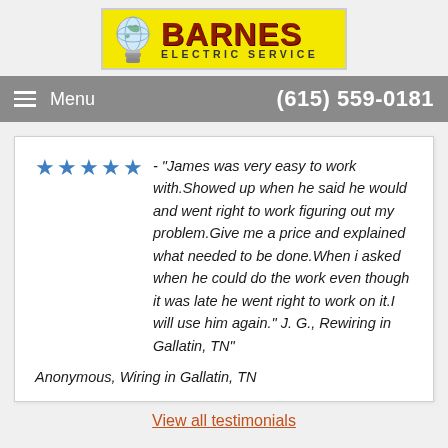[Figure (logo): Barnes Electric Service logo — yellow background with a light bulb graphic and bold red 'BARNES' text above 'ELECTRIC SERVICE' in dark letters]
Menu   (615) 559-0181
★★★★★ - "James was very easy to work with.Showed up when he said he would and went right to work figuring out my problem.Give me a price and explained what needed to be done.When i asked when he could do the work even though it was late he went right to work on it.I will use him again." J. G., Rewiring in Gallatin, TN"

Anonymous, Wiring in Gallatin, TN
View all testimonials